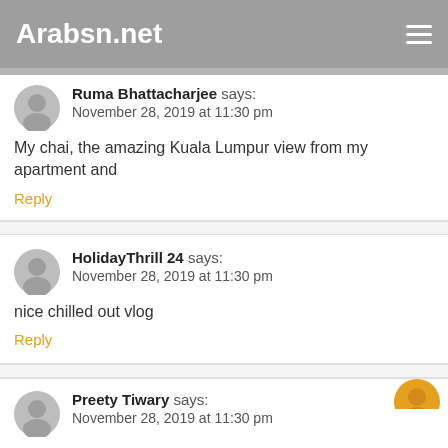Arabsn.net
Ruma Bhattacharjee says:
November 28, 2019 at 11:30 pm

My chai, the amazing Kuala Lumpur view from my apartment and
Reply
HolidayThrill 24 says:
November 28, 2019 at 11:30 pm

nice chilled out vlog
Reply
Preety Tiwary says:
November 28, 2019 at 11:30 pm